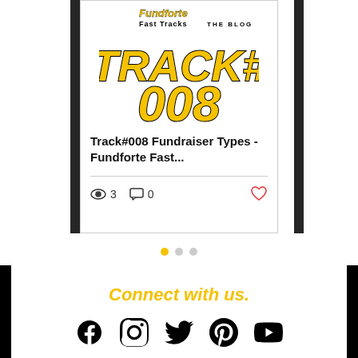[Figure (screenshot): Blog post card for Track#008 showing 'Fundforte Fast Tracks THE BLOG' header, large yellow 'TRACK# 008' text, and post title 'Track#008 Fundraiser Types - Fundforte Fast...' with view count 3, comment count 0, and a heart icon]
Track#008 Fundraiser Types - Fundforte Fast...
Connect with us.
[Figure (infographic): Row of social media icons: Facebook, Instagram, Twitter, Pinterest, YouTube — all in black]